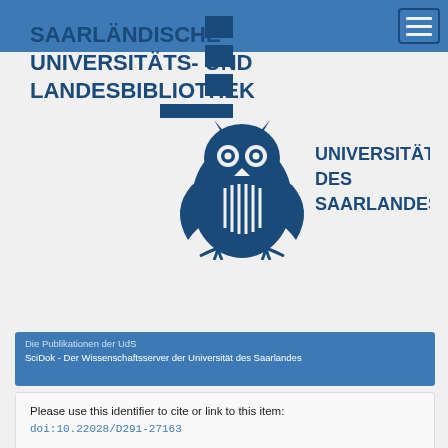Navigation bar with hamburger menu
[Figure (logo): Saarländische Universitäts- und Landesbibliothek (SUB) logo with text and geometric mark]
[Figure (logo): Universität des Saarlandes logo with owl emblem and text]
Die Publikationen der UdS
SciDok - Der Wissenschaftsserver der Universität des Saarlandes
Please use this identifier to cite or link to this item:
doi:10.22028/D291-27163